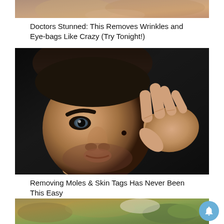[Figure (photo): Cropped top portion of a face/skin image (partially visible at top of page)]
Doctors Stunned: This Removes Wrinkles and Eye-bags Like Crazy (Try Tonight!)
[Figure (photo): Close-up photo of a young man with dark hair pointing to a mole on his cheek against a dark background]
Removing Moles & Skin Tags Has Never Been This Easy
[Figure (photo): Partially visible image at bottom showing what appears to be food/ingredients with green elements]